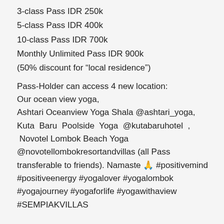3-class Pass IDR 250k
5-class Pass IDR 400k
10-class Pass IDR 700k
Monthly Unlimited Pass IDR 900k
(50% discount for “local residence”)
Pass-Holder can access 4 new location:
Our ocean view yoga,
Ashtari Oceanview Yoga Shala @ashtari_yoga,
Kuta Baru Poolside Yoga @kutabaruhotel , Novotel Lombok Beach Yoga @novotellombokresortandvillas (all Pass transferable to friends). Namaste 🙏 #positivemind #positiveenergy #yogalover #yogalombok #yogajourney #yogaforlife #yogawithaview #SEMPIAKVILLAS
.
.
.
.